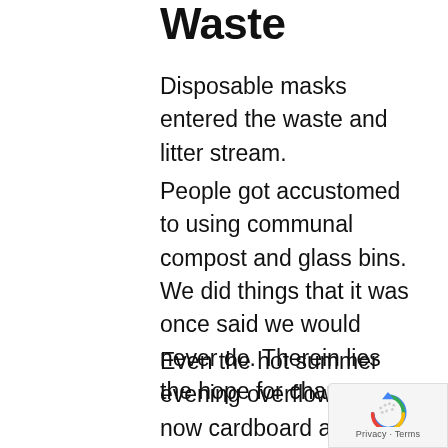Waste
Disposable masks entered the waste and litter stream.
People got accustomed to using communal compost and glass bins. We did things that it was once said we would never do. Therein lies the hope for change.
Even the hot summer evening overflow was now cardboard and paper, a change from the